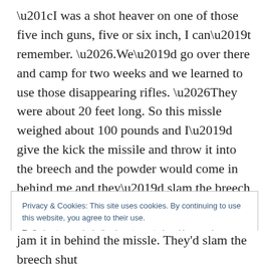“I was a shot heaver on one of those five inch guns, five or six inch, I can’t remember. ….We’d go over there and camp for two weeks and we learned to use those disappearing rifles. …They were about 20 feet long. So this missle weighed about 100 pounds and I’d give the kick the missile and throw it into the breech and the powder would come in behind me and they’d slam the breech and fire them. We used to fire at a target out in the bay. It was a tugboat pulling a target. Of course we’d compete with Battery A, I think they were from Mount Vernon.
Privacy & Cookies: This site uses cookies. By continuing to use this website, you agree to their use.
To find out more, including how to control cookies, see here: Cookie Policy
jam it in behind the missle. They'd slam the breech shut